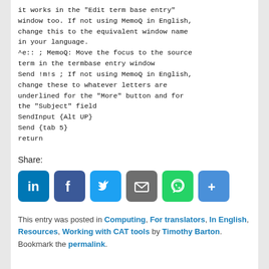it works in the "Edit term base entry" window too. If not using MemoQ in English, change this to the equivalent window name in your language.
^e:: ; MemoQ: Move the focus to the source term in the termbase entry window
Send !m!s ; If not using MemoQ in English, change these to whatever letters are underlined for the "More" button and for the "Subject" field
SendInput {Alt UP}
Send {tab 5}
return
Share:
[Figure (infographic): Social sharing icons: LinkedIn, Facebook, Twitter, Email, WhatsApp, More]
This entry was posted in Computing, For translators, In English, Resources, Working with CAT tools by Timothy Barton. Bookmark the permalink.